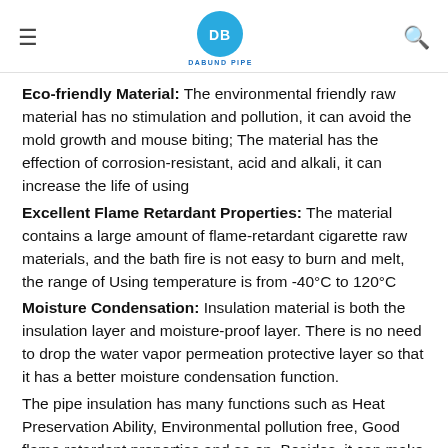DB DABUND PIPE
Eco-friendly Material: The environmental friendly raw material has no stimulation and pollution, it can avoid the mold growth and mouse biting; The material has the effection of corrosion-resistant, acid and alkali, it can increase the life of using
Excellent Flame Retardant Properties: The material contains a large amount of flame-retardant cigarette raw materials, and the bath fire is not easy to burn and melt, the range of Using temperature is from -40°C to 120°C
Moisture Condensation: Insulation material is both the insulation layer and moisture-proof layer. There is no need to drop the water vapor permeation protective layer so that it has a better moisture condensation function.
The pipe insulation has many functions such as Heat Preservation Ability, Environmental pollution free, Good flame retardant properties and so on. Besides, it can make your home more tidy and protect the copper pipe in summer.
The pipe insulation has many functions such as Heat Preservation